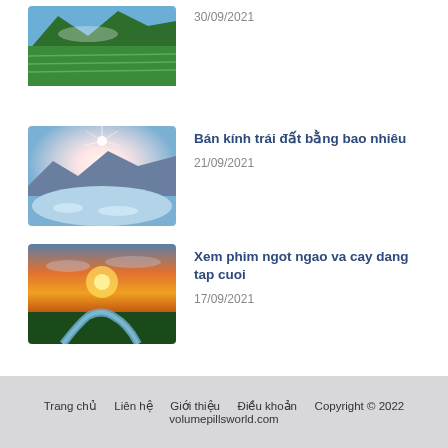[Figure (photo): Green mountain landscape with terraced rice fields]
30/09/2021
[Figure (photo): Bright star light over icy mountain lake landscape]
Bán kính trái đất bằng bao nhiêu
21/09/2021
[Figure (photo): Sunset over a winding river through forest landscape]
Xem phim ngot ngao va cay dang tap cuoi
17/09/2021
Trang chủ   Liên hệ   Giới thiệu   Điều khoản   Copyright © 2022 volumepillsworld.com